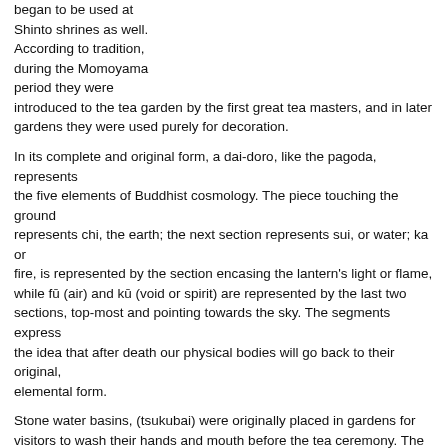began to be used at Shinto shrines as well. According to tradition, during the Momoyama period they were introduced to the tea garden by the first great tea masters, and in later gardens they were used purely for decoration.
In its complete and original form, a dai-doro, like the pagoda, represents the five elements of Buddhist cosmology. The piece touching the ground represents chi, the earth; the next section represents sui, or water; ka or fire, is represented by the section encasing the lantern's light or flame, while fū (air) and kū (void or spirit) are represented by the last two sections, top-most and pointing towards the sky. The segments express the idea that after death our physical bodies will go back to their original, elemental form.
Stone water basins, (tsukubai) were originally placed in gardens for visitors to wash their hands and mouth before the tea ceremony. The water is provided to the basin by a bamboo pipe, or kakei, and they usually have a wooden ladle for drinking the water. In tea gardens, the basin was placed low to the ground, so the drinker had to bend over to get his water